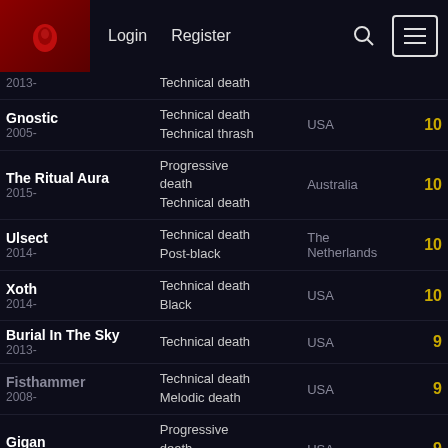Login  Register
| Band | Genre | Country | Score |
| --- | --- | --- | --- |
| (partial) 2013- | Technical death |  |  |
| Gnostic
2005- | Technical death
Technical thrash | USA | 10 |
| The Ritual Aura
2015- | Progressive death
Technical death | Australia | 10 |
| Ulsect
2014- | Technical death
Post-black | The Netherlands | 10 |
| Xoth
2014- | Technical death
Black | USA | 10 |
| Burial In The Sky
2013- | Technical death | USA | 9 |
| Fisthammer
2008- | Technical death
Melodic death | USA | 9 |
| Gigan
2006- | Progressive death
Technical death | USA | 9 |
| Ordinance (partial)
 | Progressive death | USA | 9 |